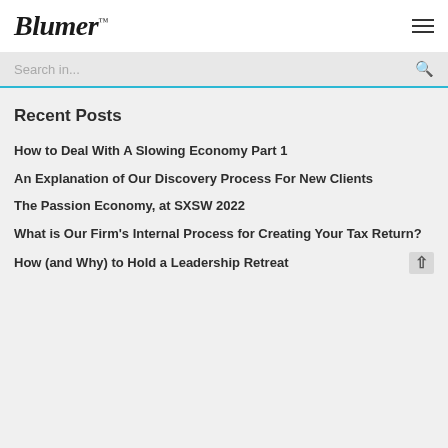Blumer
Search in...
Recent Posts
How to Deal With A Slowing Economy Part 1
An Explanation of Our Discovery Process For New Clients
The Passion Economy, at SXSW 2022
What is Our Firm's Internal Process for Creating Your Tax Return?
How (and Why) to Hold a Leadership Retreat